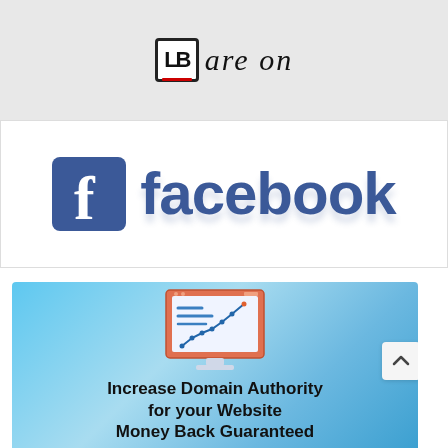[Figure (logo): LB logo box with red underline and cursive 'are on' text on grey background]
[Figure (logo): Facebook logo: blue square icon with white 'f' and 'facebook' text in blue]
[Figure (illustration): Blue gradient banner with monitor displaying an upward trending line chart, text: Increase Domain Authority for your Website Money Back Guaranteed]